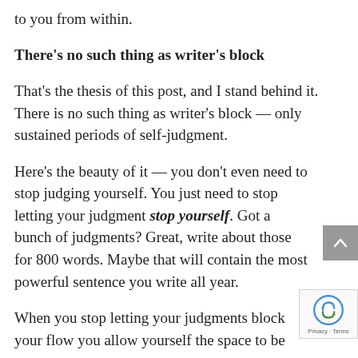to you from within.
There's no such thing as writer's block
That's the thesis of this post, and I stand behind it. There is no such thing as writer's block — only sustained periods of self-judgment.
Here's the beauty of it — you don't even need to stop judging yourself. You just need to stop letting your judgment stop yourself. Got a bunch of judgments? Great, write about those for 800 words. Maybe that will contain the most powerful sentence you write all year.
When you stop letting your judgments block your flow you allow yourself the space to be